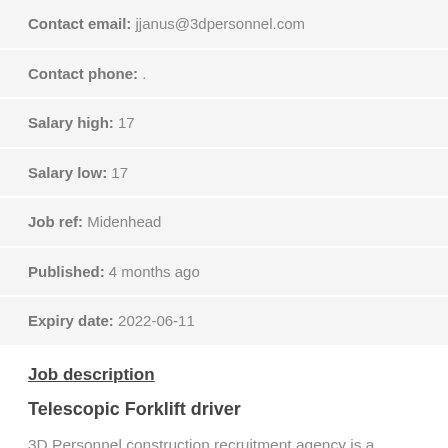| Contact email: | jjanus@3dpersonnel.com |
| Contact phone: | . |
| Salary high: | 17 |
| Salary low: | 17 |
| Job ref: | Midenhead |
| Published: | 4 months ago |
| Expiry date: | 2022-06-11 |
Job description
Telescopic Forklift driver
3D Personnel construction recruitment agency is a leading